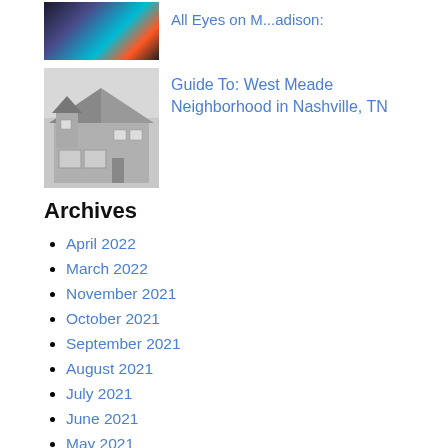[Figure (photo): Colorful neon light photo with a small circular coin/badge element — partially visible at top]
All Eyes on M...adison:
[Figure (photo): Black and white photo of a large house/mansion with columns and multi-car garage]
Guide To: West Meade Neighborhood in Nashville, TN
Archives
April 2022
March 2022
November 2021
October 2021
September 2021
August 2021
July 2021
June 2021
May 2021
April 2021
April 2019
February 2019